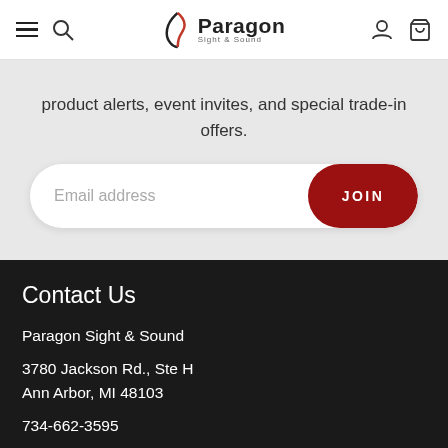Paragon Sight & Sound — navigation header
product alerts, event invites, and special trade-in offers.
[Figure (screenshot): Email address input bar with JOIN button]
Contact Us
Paragon Sight & Sound
3780 Jackson Rd., Ste H
Ann Arbor, MI 48103
734-662-3595
info@paragonsns.com